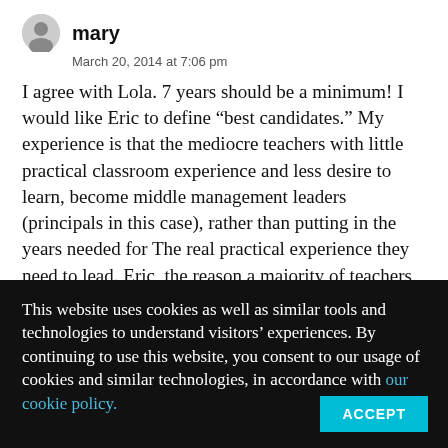mary
March 20, 2014 at 7:06 pm
I agree with Lola. 7 years should be a minimum! I would like Eric to define “best candidates.” My experience is that the mediocre teachers with little practical classroom experience and less desire to learn, become middle management leaders (principals in this case), rather than putting in the years needed for The real practical experience they need to lead. Eric, the reason a majority of teachers move into the principal program is money and prestige, not to help the common cause of education. The proof of that is in the record of any principal who was too lazy to do due diligence to get rid of
This website uses cookies as well as similar tools and technologies to understand visitors’ experiences. By continuing to use this website, you consent to our usage of cookies and similar technologies, in accordance with our cookie policy.